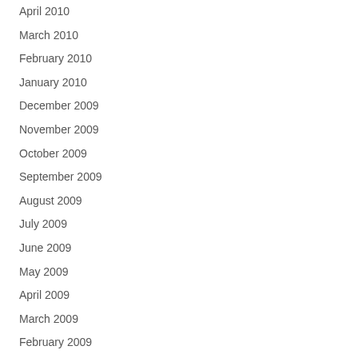April 2010
March 2010
February 2010
January 2010
December 2009
November 2009
October 2009
September 2009
August 2009
July 2009
June 2009
May 2009
April 2009
March 2009
February 2009
January 2009
December 2008
November 2008